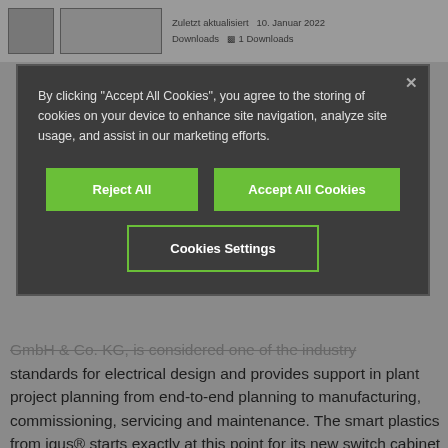Zuletzt aktualisiert 10. Januar 2022 | Downloads 1 Downloads
[Figure (screenshot): Cookie consent modal overlay with dark background containing text about cookie storage, three buttons: Reject All, Accept All Cookies, Cookies Settings]
GmbH & Co. KG, is considered one of the industry standards for electrical design and provides support in plant project planning from end-to-end planning to manufacturing, commissioning, servicing and maintenance. The smart plastics from igus® starts exactly at this point for its new switch cabinet modules i.Sense & i.Cee and simplifies daily work with the provision of the associated EPLAN product data.